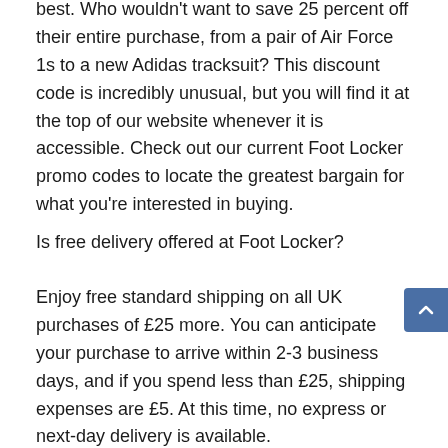best. Who wouldn't want to save 25 percent off their entire purchase, from a pair of Air Force 1s to a new Adidas tracksuit? This discount code is incredibly unusual, but you will find it at the top of our website whenever it is accessible. Check out our current Foot Locker promo codes to locate the greatest bargain for what you're interested in buying.
Is free delivery offered at Foot Locker?
Enjoy free standard shipping on all UK purchases of £25 more. You can anticipate your purchase to arrive within 2-3 business days, and if you spend less than £25, shipping expenses are £5. At this time, no express or next-day delivery is available.